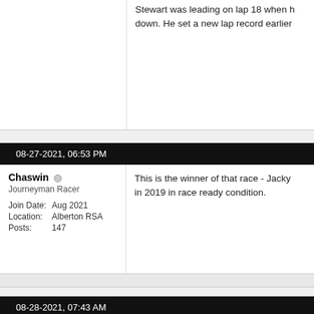Stewart was leading on lap 18 when he broke down. He set a new lap record earlier
08-27-2021, 06:53 PM
Chaswin
Journeyman Racer
Join Date: Aug 2021
Location: Alberton RSA
Posts: 147
This is the winner of that race - Jacky in 2019 in race ready condition.
08-28-2021, 07:43 AM
Chaswin
Journeyman Racer
Join Date: Aug 2021
Location: Alberton RSA
Posts: 147
Another photo from the 1969 Oulton P a limited number of these cars were p